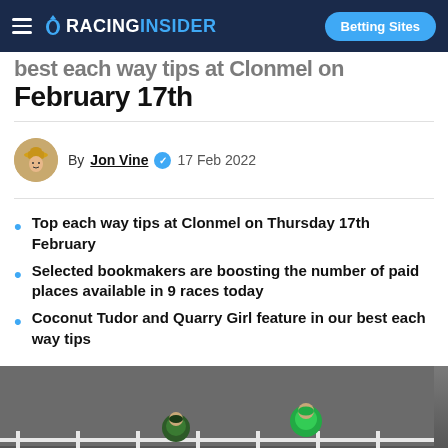RACING INSIDER — Betting Sites
best each way tips at Clonmel on February 17th
By Jon Vine ✓ 17 Feb 2022
Top each way tips at Clonmel on Thursday 17th February
Selected bookmakers are boosting the number of paid places available in 9 races today
Coconut Tudor and Quarry Girl feature in our best each way tips
[Figure (photo): Two horse racing jockeys on a racetrack, one in dark green and one in bright green, racing alongside white rails on a grey track]